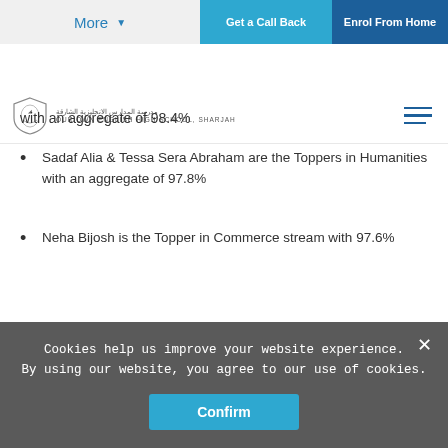More | Get a Call Back | Enrol From Home
[Figure (logo): Our Own English High School Sharjah logo with shield emblem and school name in Arabic and English]
with an aggregate of 98.4%
Sadaf Alia & Tessa Sera Abraham are the Toppers in Humanities with an aggregate of 97.8%
Neha Bijosh is the Topper in Commerce stream with 97.6%
Cookies help us improve your website experience. By using our website, you agree to our use of cookies.